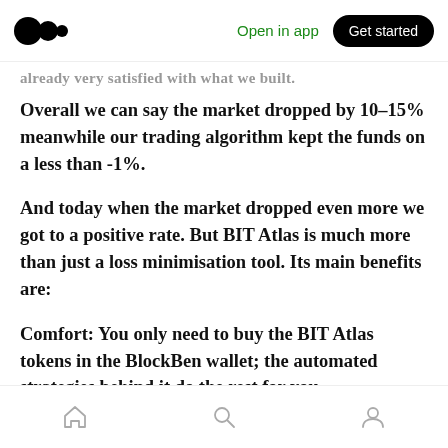Open in app | Get started
already very satisfied with what we built.
Overall we can say the market dropped by 10–15% meanwhile our trading algorithm kept the funds on a less than -1%.
And today when the market dropped even more we got to a positive rate. But BIT Atlas is much more than just a loss minimisation tool. Its main benefits are:
Comfort: You only need to buy the BIT Atlas tokens in the BlockBen wallet; the automated strategies behind it do the rest for you.
Home | Search | Profile